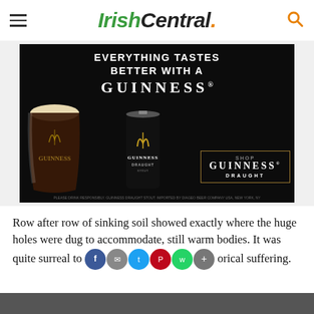IrishCentral.
[Figure (photo): Guinness advertisement: 'Everything Tastes Better With A Guinness' showing a pint glass and can with a 'Shop Guinness Draught' call-to-action box on a black background.]
Row after row of sinking soil showed exactly where the huge holes were dug to accommodate, still warm bodies. It was quite surreal to [social share icons] historical suffering.